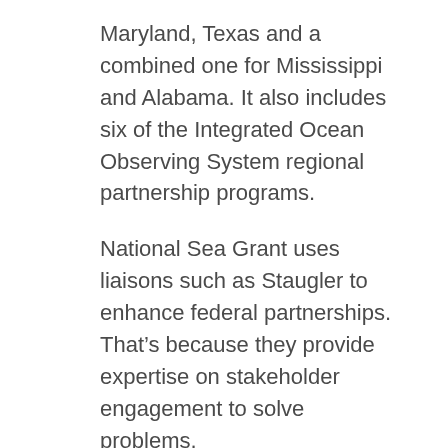Maryland, Texas and a combined one for Mississippi and Alabama. It also includes six of the Integrated Ocean Observing System regional partnership programs.
National Sea Grant uses liaisons such as Staugler to enhance federal partnerships. That's because they provide expertise on stakeholder engagement to solve problems.
“My hope is that my efforts support stewardship and decision-making by filling important knowledge and data gaps,” Staugler said. “And, I will apply an eager optimism toward addressing a growing and significant threat facing our nation’s coasts and communities – the persistent occurrence of harmful algal blooms”